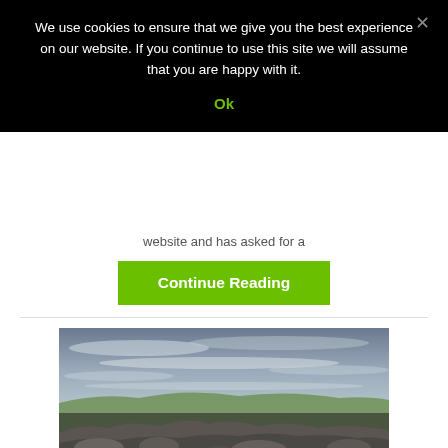We use cookies to ensure that we give you the best experience on our website. If you continue to use this site we will assume that you are happy with it.
Ok
website and has asked for a
Continue Reading
[Figure (photo): Panoramic landscape photograph taken from rocky foreground looking over green rolling hills under a dramatic cloudy sky]
Our favourite